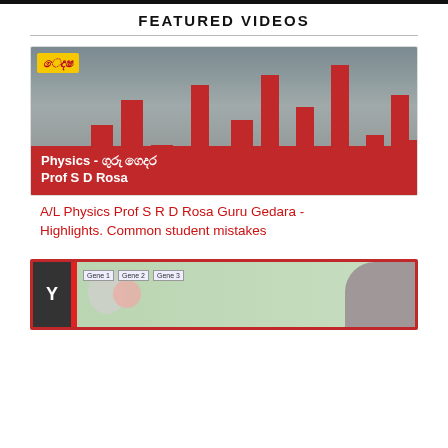FEATURED VIDEOS
[Figure (photo): Video thumbnail showing a physics professor in front of a red bar chart background, with a red banner reading 'Physics - ගුරු ගෙදර Prof S D Rosa']
A/L Physics Prof S R D Rosa Guru Gedara - Highlights. Common student mistakes
[Figure (screenshot): Second video thumbnail showing a biology/genetics educational video with gene diagrams and a presenter]